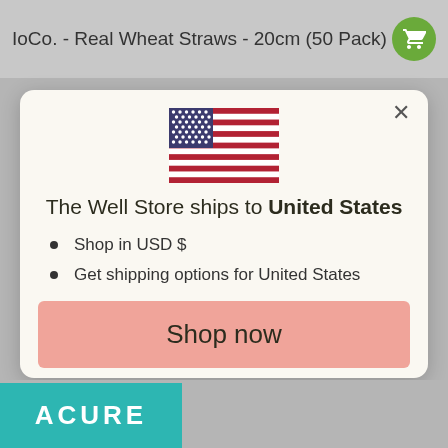IoCo. - Real Wheat Straws - 20cm (50 Pack)
[Figure (illustration): US flag SVG inline illustration]
The Well Store ships to United States
Shop in USD $
Get shipping options for United States
Shop now
Change shipping country
ACURE